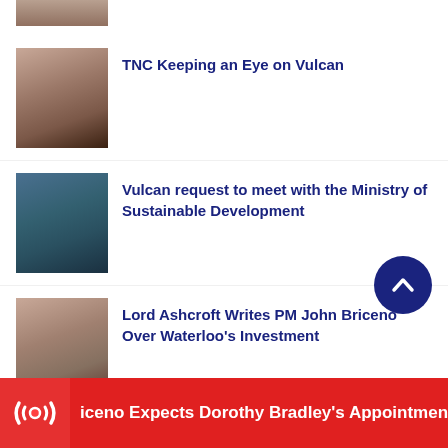[Figure (photo): Partial thumbnail of a person at top, cropped]
TNC Keeping an Eye on Vulcan
[Figure (photo): Thumbnail photo of a person in a blue patterned background]
Vulcan request to meet with the Ministry of Sustainable Development
[Figure (photo): Thumbnail photo of a person in light blue/white shirt]
Lord Ashcroft Writes PM John Briceno Over Waterloo's Investment
[Figure (photo): Breaking news bar with radio/broadcast icon on red background]
iceno Expects Dorothy Bradley's Appointment as Acting A